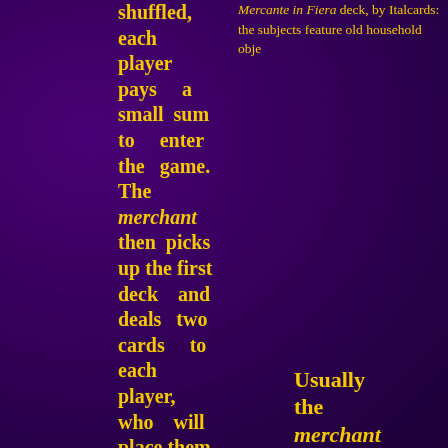shuffled, each player pays a small sum to enter the game. The merchant then picks up the first deck and deals two cards to each player, who will place them face up in front of himself.
Mercante in Fiera deck, by Italcards: the subjects feature old household obje
Usually the merchant